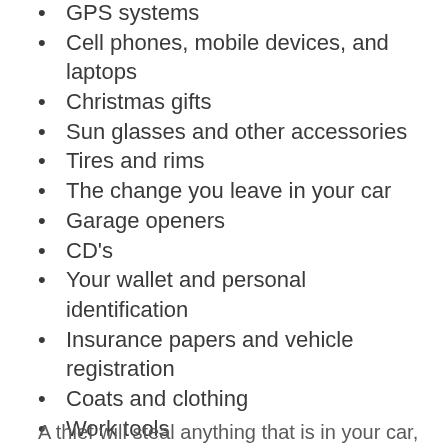GPS systems
Cell phones, mobile devices, and laptops
Christmas gifts
Sun glasses and other accessories
Tires and rims
The change you leave in your car
Garage openers
CD's
Your wallet and personal identification
Insurance papers and vehicle registration
Coats and clothing
Work tools
Car stereo
A thief will steal anything that is in your car,